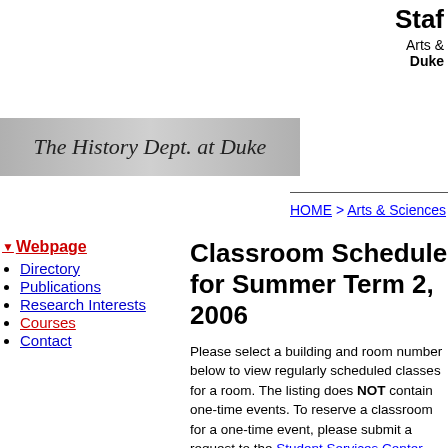Staf
Arts & Sciences
Duke
[Figure (logo): The History Dept. at Duke italic script logo on silver/gray banner]
HOME > Arts & Sciences > His
▼ Webpage
• Directory
• Publications
• Research Interests
• Courses
• Contact
Classroom Schedule for Summer Term 2, 2006
Please select a building and room number below to view regularly scheduled classes for a room. The listing does NOT contain one-time events. To reserve a classroom for a one-time event, please submit a request to the Student Services Center.
Classes regularly scheduled in Perkins for Summer2, 2006
| DAY |
| --- |
| MON |
| TUES |
| WED |